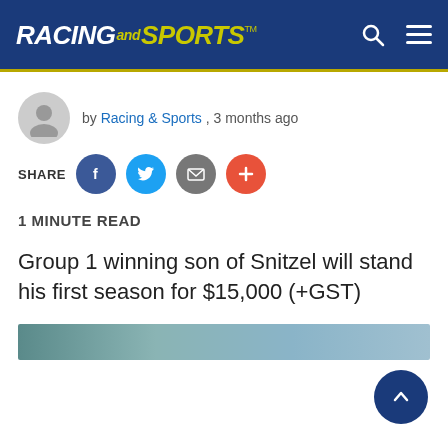Racing & Sports
by Racing & Sports , 3 months ago
SHARE
1 MINUTE READ
Group 1 winning son of Snitzel will stand his first season for $15,000 (+GST)
[Figure (photo): Partial image strip showing a horse or racing scene, teal/grey tones]